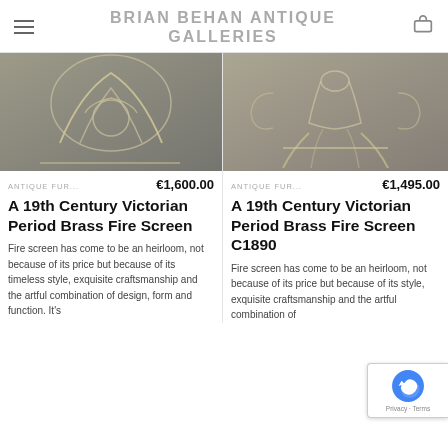BRIAN BEHAN ANTIQUE GALLERIES
[Figure (photo): Ornate 19th Century Victorian brass fire screen with decorative scrollwork and floral motifs, photographed outdoors on paving stones]
ANTIQUE FUR...
€1,600.00
A 19th Century Victorian Period Brass Fire Screen
Fire screen has come to be an heirloom, not because of its price but because of its timeless style, exquisite craftsmanship and the artful combination of design, form and function. It's
[Figure (photo): Ornate 19th Century Victorian brass fire screen C1890 with decorative urn and scrollwork, photographed outdoors on paving stones]
ANTIQUE FUR...
€1,495.00
A 19th Century Victorian Period Brass Fire Screen C1890
Fire screen has come to be an heirloom, not because of its price but because of its style, exquisite craftsmanship and the artful combination of